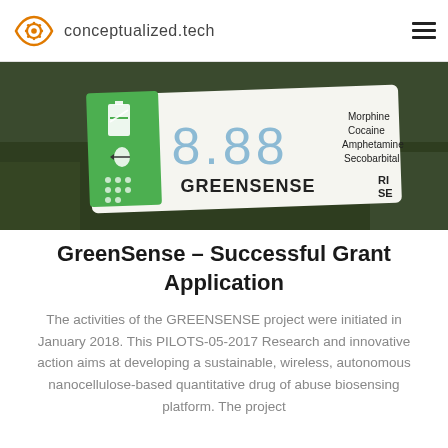conceptualized.tech
[Figure (photo): Photo of a GREENSENSE drug biosensor device showing a display reading 8.88 with labels for Morphine, Cocaine, Amphetamine, Secobarbital on a green and white card]
GreenSense – Successful Grant Application
The activities of the GREENSENSE project were initiated in January 2018. This PILOTS-05-2017 Research and innovative action aims at developing a sustainable, wireless, autonomous nanocellulose-based quantitative drug of abuse biosensing platform. The project